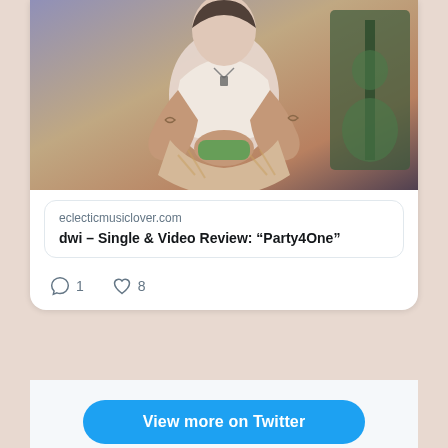[Figure (photo): Tattooed person sitting cross-legged holding a game controller, with a guitar visible in the background. Promotional photo for musician dwi.]
eclecticmusiclover.com
dwi – Single & Video Review: “Party4One”
1
8
View more on Twitter
Learn more about privacy on Twitter